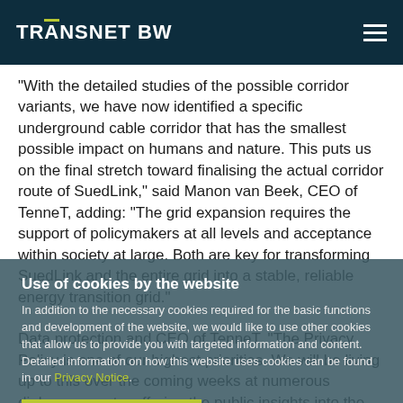TRANSNET BW
"With the detailed studies of the possible corridor variants, we have now identified a specific underground cable corridor that has the smallest possible impact on humans and nature. This puts us on the final stretch toward finalising the actual corridor route of SuedLink," said Manon van Beek, CEO of TenneT, adding: "The grid expansion requires the support of policymakers at all levels and acceptance within society at large. Both are key for transforming SuedLink and the entire grid into a stable, reliable energy transition grid." Data protection and CEO of TenneT. "The Privacy Policy is one of our highest priorities. We will be living up to this over the coming weeks at numerous dialogue events, offering the public insights into the method established by law and the associated criteria on which the proposal presented today is based."
Use of cookies by the website
In addition to the necessary cookies required for the basic functions and development of the website, we would like to use other cookies that allow us to provide you with targeted information and content. Detailed information on how this website uses cookies can be found in our Privacy Notice.